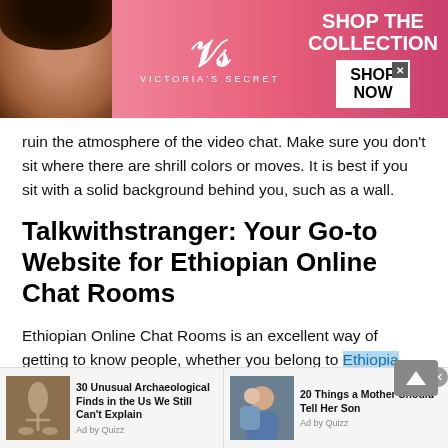[Figure (photo): Victoria's Secret advertisement banner with a model on the left, Victoria's Secret logo in the center, 'SHOP THE COLLECTION' text, and 'SHOP NOW' button on the right]
ruin the atmosphere of the video chat. Make sure you don't sit where there are shrill colors or moves. It is best if you sit with a solid background behind you, such as a wall.
Talkwithstranger: Your Go-to Website for Ethiopian Online Chat Rooms
Ethiopian Online Chat Rooms is an excellent way of getting to know people, whether you belong to Ethiopia
[Figure (photo): Bottom advertisement bar with two ads: '30 Unusual Archaeological Finds in the Us We Still Can't Explain' (Ad by Quizz) with archaeological image, and '20 Things a Mother Should Tell Her Son' (Ad by Quizz) with mother and son photo]